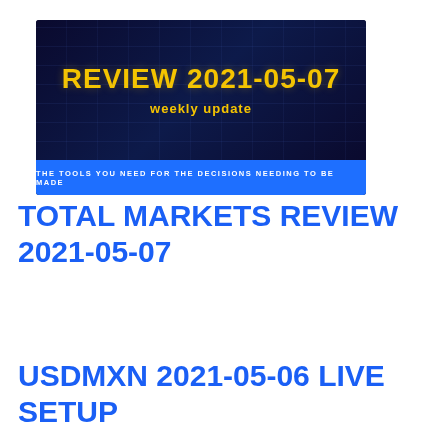[Figure (other): Banner image with dark navy background showing 'REVIEW 2021-05-07' in large yellow bold text, 'weekly update' in yellow below, and a blue bar at the bottom reading 'THE TOOLS YOU NEED FOR THE DECISIONS NEEDING TO BE MADE']
TOTAL MARKETS REVIEW 2021-05-07
USDMXN 2021-05-06 LIVE SETUP